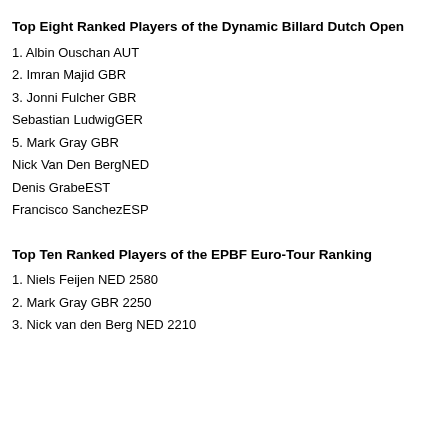Top Eight Ranked Players of the Dynamic Billard Dutch Open
1. Albin Ouschan AUT
2. Imran Majid GBR
3. Jonni Fulcher GBR
Sebastian LudwigGER
5. Mark Gray GBR
Nick Van Den BergNED
Denis GrabeEST
Francisco SanchezESP
Top Ten Ranked Players of the EPBF Euro-Tour Ranking
1. Niels Feijen NED 2580
2. Mark Gray GBR 2250
3. Nick van den Berg NED 2210